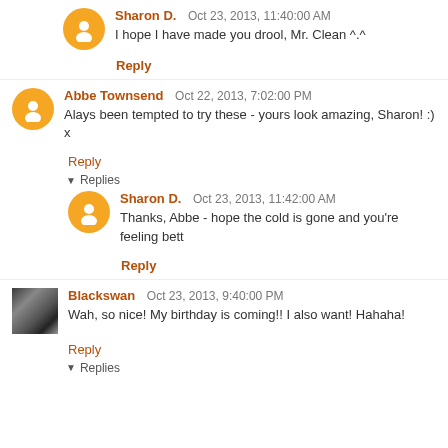Sharon D.   Oct 23, 2013, 11:40:00 AM
I hope I have made you drool, Mr. Clean ^.^
Reply
Abbe Townsend   Oct 22, 2013, 7:02:00 PM
Alays been tempted to try these - yours look amazing, Sharon! :) x
Reply
▼ Replies
Sharon D.   Oct 23, 2013, 11:42:00 AM
Thanks, Abbe - hope the cold is gone and you're feeling bett
Reply
Blackswan   Oct 23, 2013, 9:40:00 PM
Wah, so nice! My birthday is coming!! I also want! Hahaha!
Reply
▼ Replies